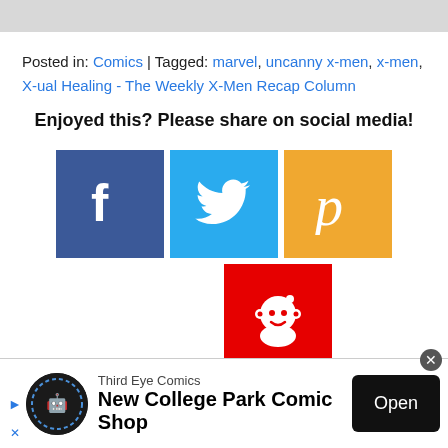Posted in: Comics | Tagged: marvel, uncanny x-men, x-men, X-ual Healing - The Weekly X-Men Recap Column
Enjoyed this? Please share on social media!
[Figure (infographic): Social media share buttons: Facebook (blue), Twitter (light blue), Pinterest (orange), Reddit (red)]
Third Eye Comics New College Park Comic Shop | Open